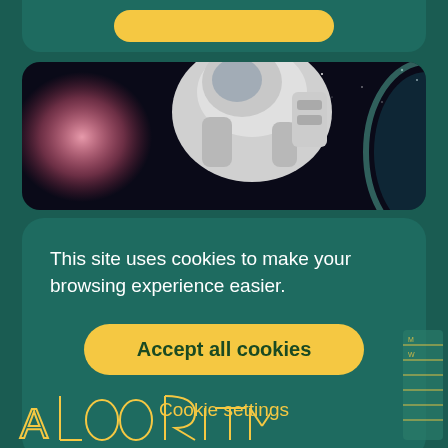[Figure (screenshot): Partial view of a yellow rounded button at the top of the page, clipped]
[Figure (photo): Astronaut in spacesuit floating in space with Earth's atmosphere visible at right and a pink/red lens flare on the left, dark starfield background]
This site uses cookies to make your browsing experience easier.
Accept all cookies
Cookie settings
[Figure (logo): ALGORITME logo in yellow outline letters at bottom left, partially visible]